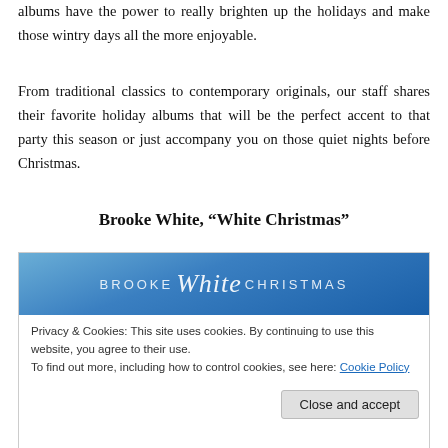albums have the power to really brighten up the holidays and make those wintry days all the more enjoyable.
From traditional classics to contemporary originals, our staff shares their favorite holiday albums that will be the perfect accent to that party this season or just accompany you on those quiet nights before Christmas.
Brooke White, “White Christmas”
[Figure (screenshot): Brooke White Christmas album website screenshot with blue gradient header showing 'BROOKE White CHRISTMAS' text and a cookie consent overlay popup at the bottom with 'Close and accept' button.]